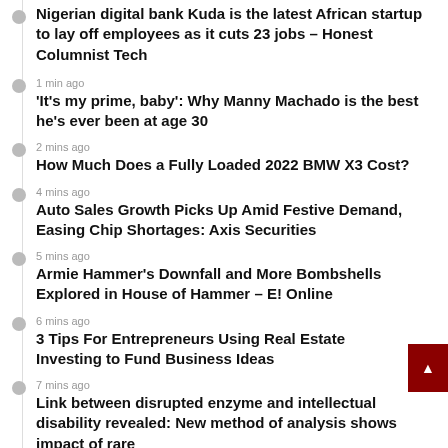Nigerian digital bank Kuda is the latest African startup to lay off employees as it cuts 23 jobs – Honest Columnist Tech
1 min ago
'It's my prime, baby': Why Manny Machado is the best he's ever been at age 30
2 mins ago
How Much Does a Fully Loaded 2022 BMW X3 Cost?
4 mins ago
Auto Sales Growth Picks Up Amid Festive Demand, Easing Chip Shortages: Axis Securities
5 mins ago
Armie Hammer's Downfall and More Bombshells Explored in House of Hammer – E! Online
6 mins ago
3 Tips For Entrepreneurs Using Real Estate Investing to Fund Business Ideas
7 mins ago
Link between disrupted enzyme and intellectual disability revealed: New method of analysis shows impact of rare...